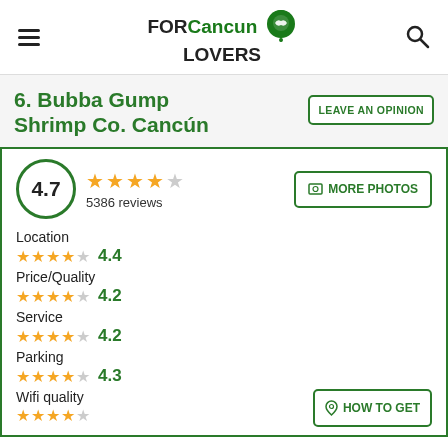FOR Cancun LOVERS
6. Bubba Gump Shrimp Co. Cancún
4.7 — 5386 reviews
Location 4.4
Price/Quality 4.2
Service 4.2
Parking 4.3
Wifi quality